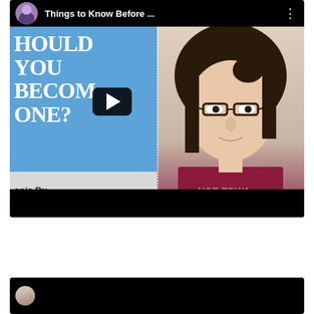[Figure (screenshot): YouTube video thumbnail showing a split-screen: left side has blue background with text 'SHOULD YOU BECOME ONE?' and lower left has gray panel with 'onia Du / ics Student' and pink panel; right side shows a woman with glasses wearing a maroon shirt. Video title bar at top reads 'Things to Know Before ...' with avatar icon. Play button visible in center.]
[Figure (screenshot): Partial YouTube video card at bottom of page, showing beginning of another video with avatar circle visible.]